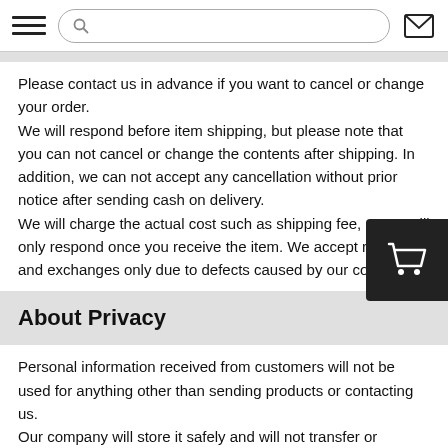[Navigation bar with hamburger menu, search box, and mail icon]
Please contact us in advance if you want to cancel or change your order.
We will respond before item shipping, but please note that you can not cancel or change the contents after shipping. In addition, we can not accept any cancellation without prior notice after sending cash on delivery.
We will charge the actual cost such as shipping fee, so we will only respond once you receive the item. We accept returns and exchanges only due to defects caused by our company.
About Privacy
Personal information received from customers will not be used for anything other than sending products or contacting us.
Our company will store it safely and will not transfer or provide it to a third party.